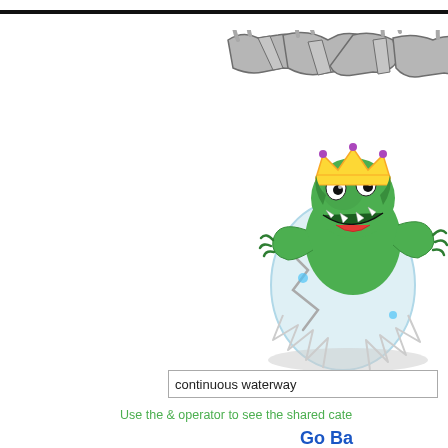[Figure (illustration): Cartoon illustration of a green monster/dinosaur hatching from an egg, wearing a gold crown, with stylized graffiti-style text/logo above it in gray stone-like letters. The creature appears menacing with an open mouth showing teeth.]
continuous waterway
Use the & operator to see the shared cate
Go Ba